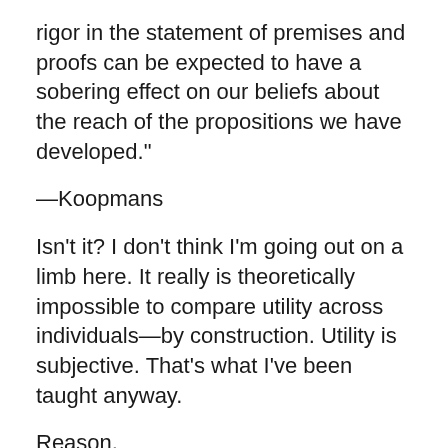rigor in the statement of premises and proofs can be expected to have a sobering effect on our beliefs about the reach of the propositions we have developed."
—Koopmans
Isn't it? I don't think I'm going out on a limb here. It really is theoretically impossible to compare utility across individuals—by construction. Utility is subjective. That's what I've been taught anyway.
Reason,
But people are different. Here's what Nick should have